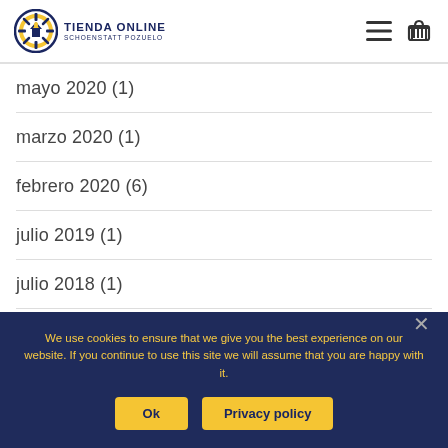TIENDA ONLINE SCHOENSTATT POZUELO
mayo 2020 (1)
marzo 2020 (1)
febrero 2020 (6)
julio 2019 (1)
julio 2018 (1)
noviembre 2015 (1)
We use cookies to ensure that we give you the best experience on our website. If you continue to use this site we will assume that you are happy with it.